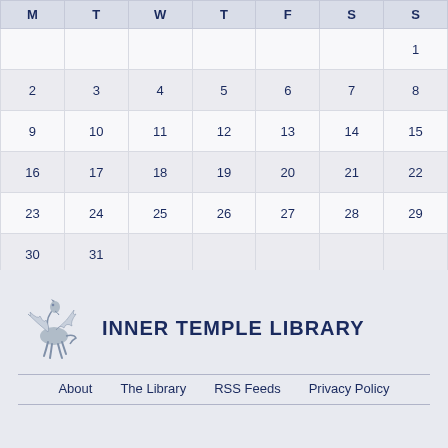| M | T | W | T | F | S | S |
| --- | --- | --- | --- | --- | --- | --- |
|  |  |  |  |  |  | 1 |
| 2 | 3 | 4 | 5 | 6 | 7 | 8 |
| 9 | 10 | 11 | 12 | 13 | 14 | 15 |
| 16 | 17 | 18 | 19 | 20 | 21 | 22 |
| 23 | 24 | 25 | 26 | 27 | 28 | 29 |
| 30 | 31 |  |  |  |  |  |
« Apr   Jun »
[Figure (logo): Pegasus (winged horse) logo for Inner Temple Library]
INNER TEMPLE LIBRARY
About   The Library   RSS Feeds   Privacy Policy